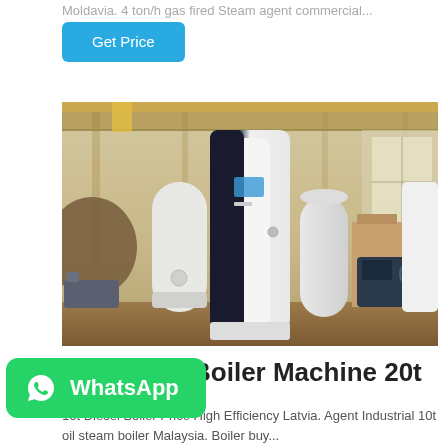Moldavia. 4 ton/h gas fired Steam agent commercial...
Get Price
[Figure (photo): Industrial boilers in a warehouse/factory setting. A tall white and black vertical boiler unit stands in the center foreground, with other cylindrical boilers and industrial equipment visible in the background.]
Low Price Boiler Machine 20t
WhatsApp
10t Diesel Boiler Price High Efficiency Latvia. Agent Industrial 10t oil steam boiler Malaysia. Boiler buy...